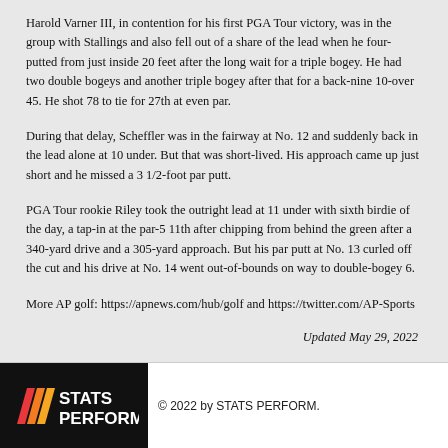Harold Varner III, in contention for his first PGA Tour victory, was in the group with Stallings and also fell out of a share of the lead when he four-putted from just inside 20 feet after the long wait for a triple bogey. He had two double bogeys and another triple bogey after that for a back-nine 10-over 45. He shot 78 to tie for 27th at even par.
During that delay, Scheffler was in the fairway at No. 12 and suddenly back in the lead alone at 10 under. But that was short-lived. His approach came up just short and he missed a 3 1/2-foot par putt.
PGA Tour rookie Riley took the outright lead at 11 under with sixth birdie of the day, a tap-in at the par-5 11th after chipping from behind the green after a 340-yard drive and a 305-yard approach. But his par putt at No. 13 curled off the cut and his drive at No. 14 went out-of-bounds on way to double-bogey 6.
More AP golf: https://apnews.com/hub/golf and https://twitter.com/AP-Sports
Updated May 29, 2022
[Figure (logo): STATS PERFORM logo on black background with orange/pink slash marks]
© 2022 by STATS PERFORM.